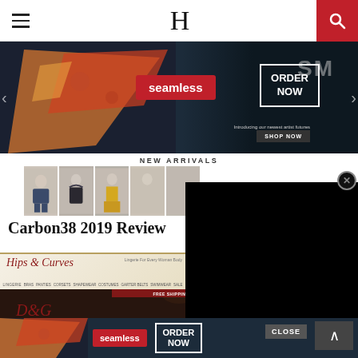H (logo) with hamburger menu and search button
[Figure (screenshot): Seamless food delivery banner with pizza images, 'seamless' red badge, and 'ORDER NOW' white box on dark background. Left and right navigation arrows visible.]
NEW ARRIVALS
[Figure (screenshot): Row of lingerie/swimwear product thumbnails showing female models]
Carbon38 2019 Review
[Figure (screenshot): Black video player overlay with X close circle button]
[Figure (screenshot): Hips & Curves plus-size lingerie boutique website banner with logo, tagline and navigation menu items: LINGERIE, BRAS, PANTIES, CORSETS, SHAPEWEAR, COSTUMES, GARTER BELTS, SWIMWEAR, SLEEPWEAR, APPAREL, SALE]
[Figure (screenshot): Hips & Curves dark fashion photograph of woman. Free shipping on orders $85+ banner at top.]
[Figure (screenshot): Seamless food delivery banner at bottom with pizza, red seamless badge and ORDER NOW box. CLOSE button and up-arrow button overlaid.]